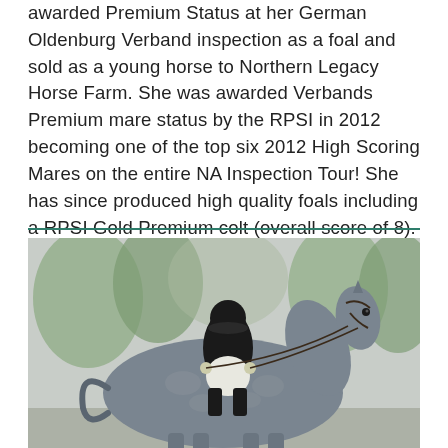awarded Premium Status at her German Oldenburg Verband inspection as a foal and sold as a young horse to Northern Legacy Horse Farm. She was awarded Verbands Premium mare status by the RPSI in 2012 becoming one of the top six 2012 High Scoring Mares on the entire NA Inspection Tour! She has since produced high quality foals including a RPSI Gold Premium colt (overall score of 8).
[Figure (photo): A rider dressed in formal dressage attire (dark jacket, helmet, white breeches) riding a grey dapple horse outdoors, with trees visible in the background.]